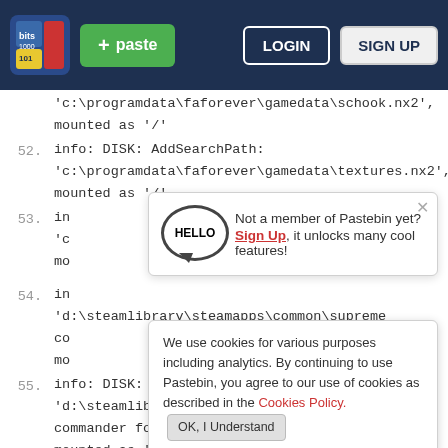paste | LOGIN | SIGN UP
'c:\programdata\faforever\gamedata\schook.nx2', mounted as '/'
52. info: DISK: AddSearchPath: 'c:\programdata\faforever\gamedata\textures.nx2', mounted as '/'
53. in 'c ... mo
We use cookies for various purposes including analytics. By continuing to use Pastebin, you agree to our use of cookies as described in the Cookies Policy. OK, I Understand
54. in
'd:\steamlibrary\steamapps\common\supreme
Not a member of Pastebin yet? Sign Up, it unlocks many cool features!
55. info: DISK: AddSearchPath: 'd:\steamlibrary\steamapps\common\supreme commander forged alliance\gamedata\editor.scd', mounted as '/'
56. info: DISK: AddSearchPath: